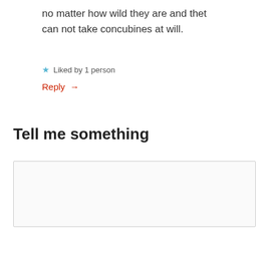no matter how wild they are and thet can not take concubines at will.
★ Liked by 1 person
Reply →
Tell me something
Enter your comment here...